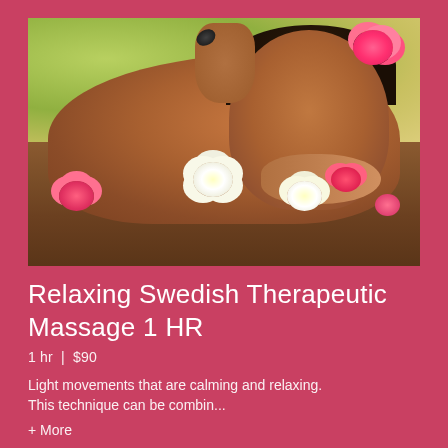[Figure (photo): Woman receiving a spa massage lying on a wooden surface with tropical flowers (pink and white frangipani) around her, smiling at camera, with someone performing a hot stone massage on her back.]
Relaxing Swedish Therapeutic Massage 1 HR
1 hr  |  $90
Light movements that are calming and relaxing. This technique can be combin...
+ More
BOOK APPOINTMENT